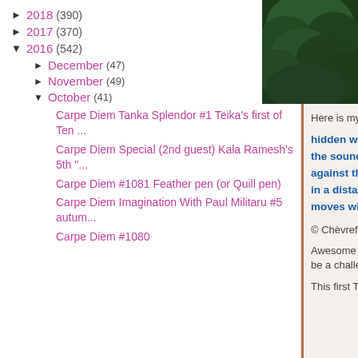► 2018 (390)
► 2017 (370)
▼ 2016 (542)
► December (47)
► November (49)
▼ October (41)
Carpe Diem Tanka Splendor #1 Teika's first of Ten ...
Carpe Diem Special (2nd guest) Kala Ramesh's 5th "...
Carpe Diem #1081 Feather pen (or Quill pen)
Carpe Diem Imagination With Paul Militaru #5 autum...
Carpe Diem #1080
[Figure (photo): Photo of green foliage/forest trees in upper right corner]
Here is my attempt to
hidden waterfall
the sound of falling w
against the rough m
in a distance a templ
moves with the sour
© Chèvrefeuille
Awesome to create ta am not that kind of Ta be a challenge not onl
This first Tanka Splend until November 5th at